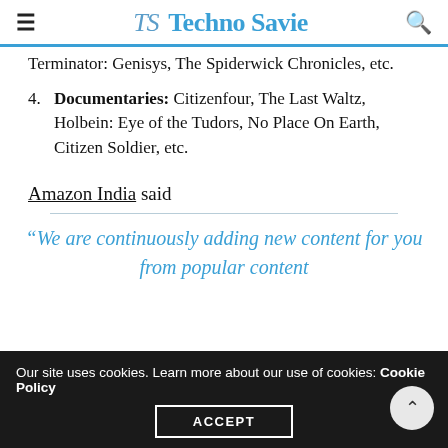TS Techno Savie
Terminator: Genisys, The Spiderwick Chronicles, etc.
Documentaries: Citizenfour, The Last Waltz, Holbein: Eye of the Tudors, No Place On Earth, Citizen Soldier, etc.
Amazon India said
“We are continuously adding new content for you from popular content
Our site uses cookies. Learn more about our use of cookies: Cookie Policy
ACCEPT